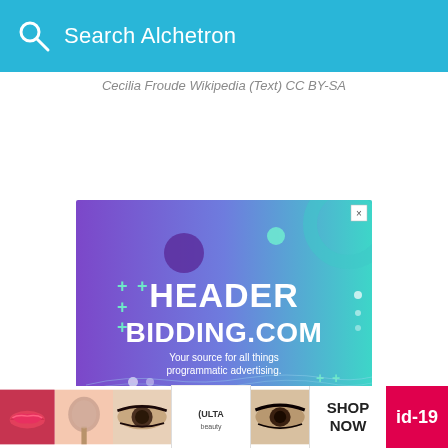Search Alchetron
Cecilia Froude Wikipedia (Text) CC BY-SA
[Figure (screenshot): Advertisement banner for headerbidding.com with purple-to-teal gradient background, large white bold text reading HEADER BIDDING.COM, subtitle 'Your source for all things programmatic advertising.' with decorative plus signs and circles]
Similar Topics
[Figure (screenshot): Bottom advertisement bar showing makeup/beauty images including lips, brush, eyes, Ulta Beauty logo, and SHOP NOW text with id-19 red badge]